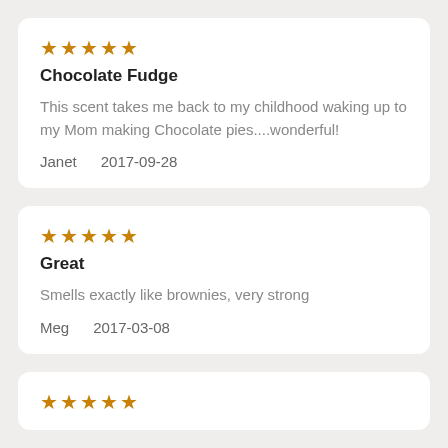★★★★★
Chocolate Fudge
This scent takes me back to my childhood waking up to my Mom making Chocolate pies....wonderful!
Janet   2017-09-28
★★★★★
Great
Smells exactly like brownies, very strong
Meg   2017-03-08
★★★★★